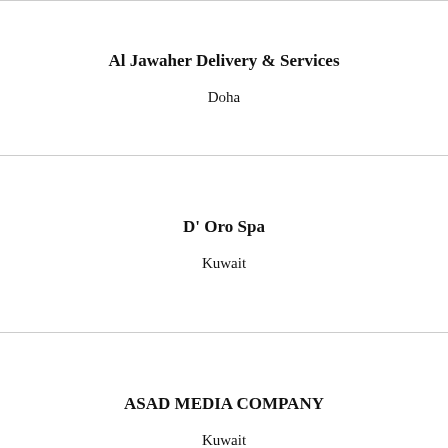Al Jawaher Delivery & Services
Doha
D' Oro Spa
Kuwait
ASAD MEDIA COMPANY
Kuwait
Amicus Populo